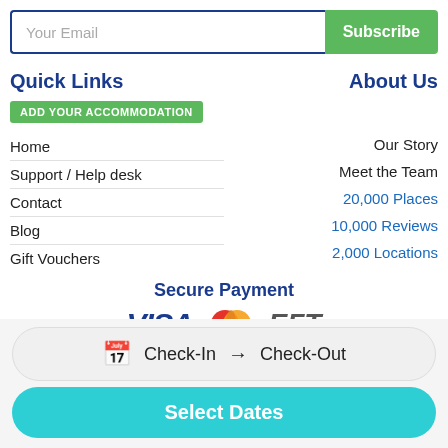Your Email
Subscribe
Quick Links
About Us
ADD YOUR ACCOMMODATION
Home
Support / Help desk
Contact
Blog
Gift Vouchers
Our Story
Meet the Team
20,000 Places
10,000 Reviews
2,000 Locations
Secure Payment
[Figure (logo): Payment icons: VISA, Mastercard, EFT]
[Figure (logo): SSL security badge with shield icon and SSL text]
Check-In → Check-Out
Select Dates